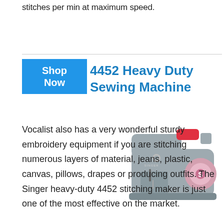stitches per min at maximum speed.
4452 Heavy Duty Sewing Machine
[Figure (other): Blue 'Shop Now' button]
[Figure (photo): Singer 4452 Heavy Duty Sewing Machine - gray sewing machine with red and pink accents]
Vocalist also has a very wonderful sturdy embroidery equipment if you are stitching numerous layers of material, jeans, plastic, canvas, pillows, drapes or producing outfits. The Singer heavy-duty 4452 stitching maker is just one of the most effective on the market.